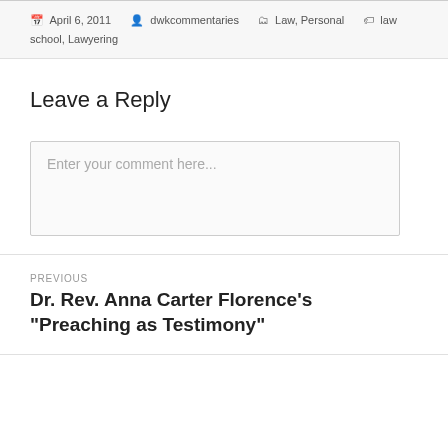April 6, 2011  dwkcommentaries  Law, Personal  law school, Lawyering
Leave a Reply
Enter your comment here...
PREVIOUS
Dr. Rev. Anna Carter Florence’s “Preaching as Testimony”